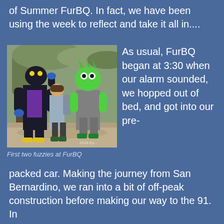of Summer FurBQ. In fact, we have been using the week to reflect and take it all in....
[Figure (photo): Two people standing outdoors near a tree; one is wearing a black and purple fursuit with a cat/dragon-like head, the other is a person wearing a bright green animal head costume, standing on a dirt path in a park setting.]
First two fuzzies at FurBQ
As usual, FurBQ began at 3:30 when our alarm sounded, we hopped out of bed, and got into our pre-packed car. Making the journey from San Bernardino, we ran into a bit of off-peak construction before making our way to the 91. In